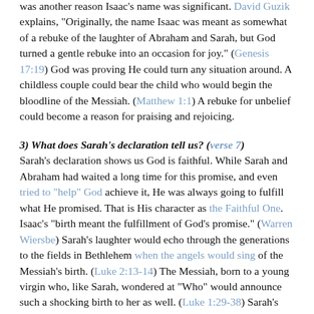was another reason Isaac's name was significant. David Guzik explains, "Originally, the name Isaac was meant as somewhat of a rebuke of the laughter of Abraham and Sarah, but God turned a gentle rebuke into an occasion for joy." (Genesis 17:19) God was proving He could turn any situation around. A childless couple could bear the child who would begin the bloodline of the Messiah. (Matthew 1:1) A rebuke for unbelief could become a reason for praising and rejoicing.
3) What does Sarah's declaration tell us? (verse 7) Sarah's declaration shows us God is faithful. While Sarah and Abraham had waited a long time for this promise, and even tried to "help" God achieve it, He was always going to fulfill what He promised. That is His character as the Faithful One. Isaac's "birth meant the fulfillment of God's promise." (Warren Wiersbe) Sarah's laughter would echo through the generations to the fields in Bethlehem when the angels would sing of the Messiah's birth. (Luke 2:13-14) The Messiah, born to a young virgin who, like Sarah, wondered at "Who" would announce such a shocking birth to her as well. (Luke 1:29-38) Sarah's joy, wonder and praise shows us that what we think impossible is entirely possible for God. Matthew Henry puts it this way, "The thing was so highly